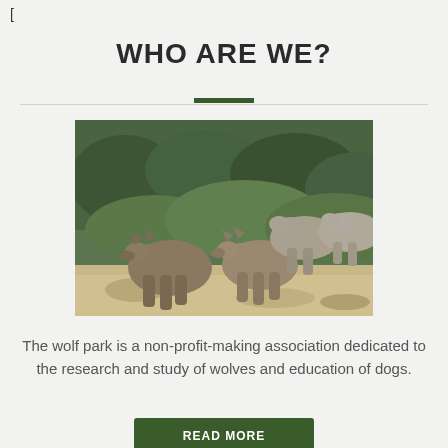[
WHO ARE WE?
[Figure (photo): A pack of wolves standing in a rocky, brush-covered landscape with green shrubs in the background.]
The wolf park is a non-profit-making association dedicated to the research and study of wolves and education of dogs.